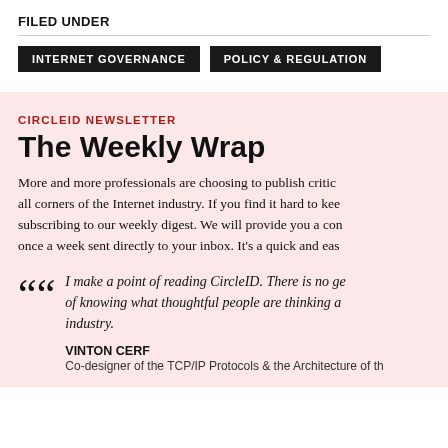FILED UNDER
INTERNET GOVERNANCE
POLICY & REGULATION
CIRCLEID NEWSLETTER
The Weekly Wrap
More and more professionals are choosing to publish critically important work here. All corners of the Internet industry. If you find it hard to keep up daily, consider subscribing to our weekly digest. We will provide you a convenient summary once a week sent directly to your inbox. It's a quick and easy read.
I make a point of reading CircleID. There is no ge of knowing what thoughtful people are thinking a industry.
VINTON CERF
Co-designer of the TCP/IP Protocols & the Architecture of th